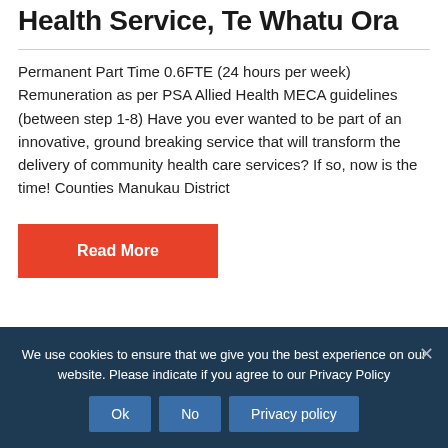Therapist (Part Time) Community Health Service, Te Whatu Ora
Permanent Part Time 0.6FTE (24 hours per week) Remuneration as per PSA Allied Health MECA guidelines (between step 1-8) Have you ever wanted to be part of an innovative, ground breaking service that will transform the delivery of community health care services? If so, now is the time! Counties Manukau District
Read More
We use cookies to ensure that we give you the best experience on our website. Please indicate if you agree to our Privacy Policy
Ok
No
Privacy policy